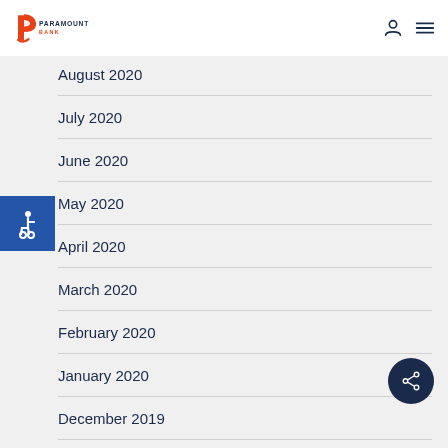Paramount Bank
August 2020
July 2020
June 2020
May 2020
April 2020
March 2020
February 2020
January 2020
December 2019
November 2019